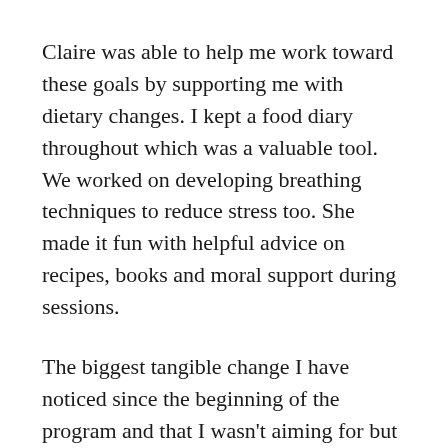Claire was able to help me work toward these goals by supporting me with dietary changes. I kept a food diary throughout which was a valuable tool. We worked on developing breathing techniques to reduce stress too. She made it fun with helpful advice on recipes, books and moral support during sessions.
The biggest tangible change I have noticed since the beginning of the program and that I wasn't aiming for but seems to have happened is quite a substantial weight loss of 2 1/2 stone.
I am happier and less stressed with more energy because with Claire's advice I have the